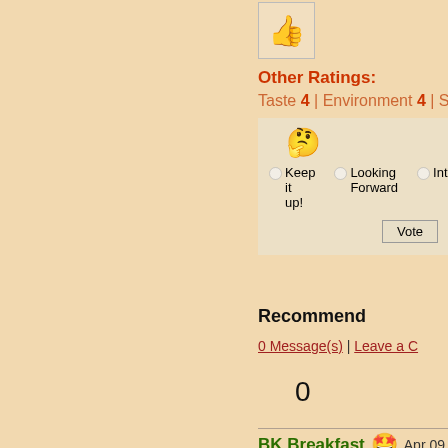[Figure (illustration): Thumbs up icon in a bordered box]
Other Ratings:
Taste 4  |  Environment 4  |  Service 4
[Figure (illustration): Thinking face emoji with radio buttons: Keep it up!, Looking Forward, Interesting and a Vote button]
Recommend
0 Message(s) | Leave a C
0
BK Breakfast
Apr 09, 2012
Burger King  (Choa Chu Kang)
Categories : American | Fast Food | B
Bought a set of the breakfast platter w tomato, egg omelette, sausage and b